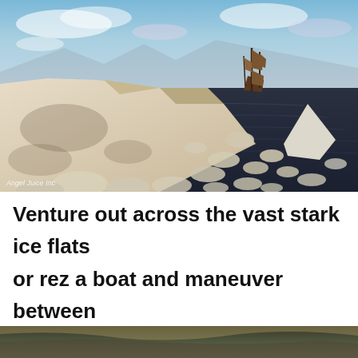[Figure (illustration): 3D rendered scene of a sailing ship navigating arctic waters with ice flats, ice chunks floating in dark water, and a large ice shelf. Watermark reads 'Angel Juice Inc' in lower left corner.]
Venture out across the vast stark ice flats or rez a boat and maneuver between icebergs,
[Figure (illustration): Partial view of another 3D rendered scene, likely showing a dramatic sky and landscape, cropped at bottom of page.]